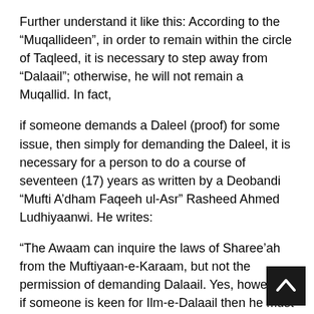Further understand it like this: According to the “Muqallideen”, in order to remain within the circle of Taqleed, it is necessary to step away from “Dalaail”; otherwise, he will not remain a Muqallid. In fact,
if someone demands a Daleel (proof) for some issue, then simply for demanding the Daleel, it is necessary for a person to do a course of seventeen (17) years as written by a Deobandi “Mufti A’dham Faqeeh ul-Asr” Rasheed Ahmed Ludhiyaanwi. He writes:
“The Awaam can inquire the laws of Sharee’ah from the Muftiyaan-e-Karaam, but not the permission of demanding Dalaail. Yes, however, if someone is keen for Ilm-e-Dalaail then he must first successfully complete a general course of fifteen (15) years with high grades from a reliable religious school, then he must seek admission for the level of Takhassus (specialization) for a course of two (2) years.